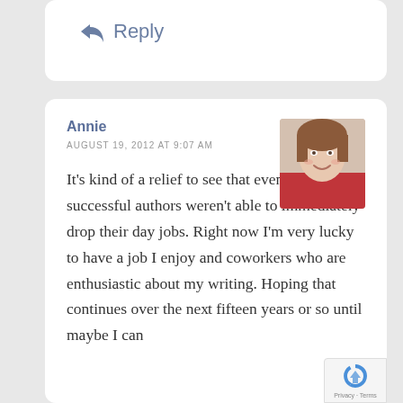↩ Reply
Annie
[Figure (photo): Profile photo of a young woman with short brown hair, smiling, wearing a red top]
AUGUST 19, 2012 AT 9:07 AM
It's kind of a relief to see that even very successful authors weren't able to immediately drop their day jobs. Right now I'm very lucky to have a job I enjoy and coworkers who are enthusiastic about my writing. Hoping that continues over the next fifteen years or so until maybe I can